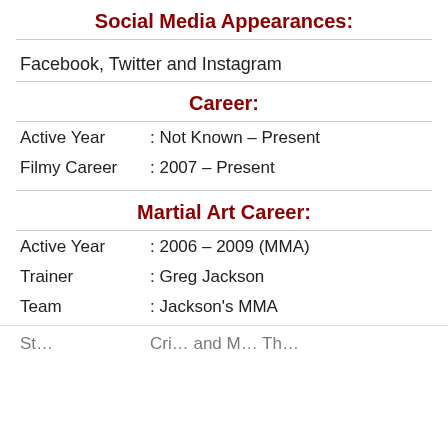Social Media Appearances:
Facebook, Twitter and Instagram
Career:
Active Year    : Not Known – Present
Filmy Career   : 2007 – Present
Martial Art Career:
Active Year    : 2006 – 2009 (MMA)
Trainer        : Greg Jackson
Team           : Jackson's MMA